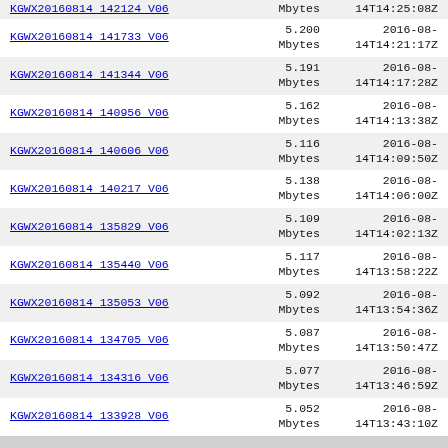| Name | Size | Date |
| --- | --- | --- |
| KGWX20160814 142124 V06 | Mbytes | 14T14:25:08Z |
| KGWX20160814 141733 V06 | 5.200
Mbytes | 2016-08-
14T14:21:17Z |
| KGWX20160814 141344 V06 | 5.191
Mbytes | 2016-08-
14T14:17:28Z |
| KGWX20160814 140956 V06 | 5.162
Mbytes | 2016-08-
14T14:13:38Z |
| KGWX20160814 140606 V06 | 5.116
Mbytes | 2016-08-
14T14:09:50Z |
| KGWX20160814 140217 V06 | 5.138
Mbytes | 2016-08-
14T14:06:00Z |
| KGWX20160814 135829 V06 | 5.109
Mbytes | 2016-08-
14T14:02:13Z |
| KGWX20160814 135440 V06 | 5.117
Mbytes | 2016-08-
14T13:58:22Z |
| KGWX20160814 135053 V06 | 5.092
Mbytes | 2016-08-
14T13:54:36Z |
| KGWX20160814 134705 V06 | 5.087
Mbytes | 2016-08-
14T13:50:47Z |
| KGWX20160814 134316 V06 | 5.077
Mbytes | 2016-08-
14T13:46:59Z |
| KGWX20160814 133928 V06 | 5.052
Mbytes | 2016-08-
14T13:43:10Z |